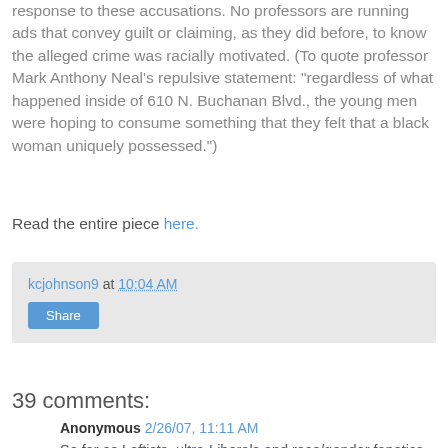response to these accusations. No professors are running ads that convey guilt or claiming, as they did before, to know the alleged crime was racially motivated. (To quote professor Mark Anthony Neal's repulsive statement: "regardless of what happened inside of 610 N. Buchanan Blvd., the young men were hoping to consume something that they felt that a black woman uniquely possessed.")
Read the entire piece here.
kcjohnson9 at 10:04 AM
Share
39 comments:
Anonymous 2/26/07, 11:11 AM
So far as Leftists, ultra-Liberals and race/gender fanatics